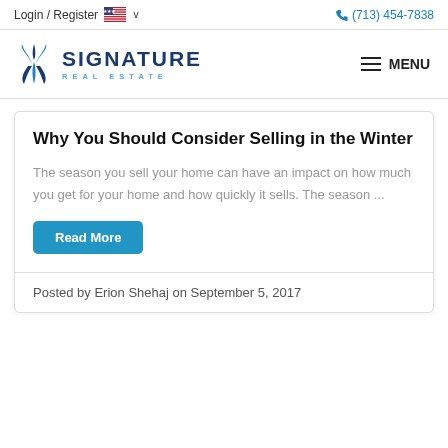Login / Register  🇺🇸  ∨    (713) 454-7838
[Figure (logo): Signature Real Estate logo with blue diamond/leaf icon and company name]
Why You Should Consider Selling in the Winter
The season you sell your home can have an impact on how much you get for your home and how quickly it sells. The season ...
Read More
Posted by Erion Shehaj on September 5, 2017